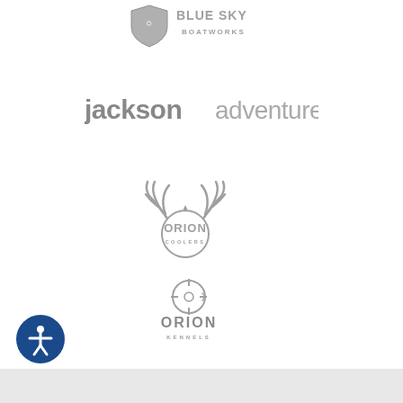[Figure (logo): Blue Sky Boatworks logo in gray - shield icon with stylized text 'BLUE SKY BOATWORKS']
[Figure (logo): Jackson Adventures logo in gray - bold 'jackson' text followed by lighter 'adventures' text]
[Figure (logo): Orion Coolers logo in gray - deer antlers above circular badge with 'ORION COOLERS' text]
[Figure (logo): Orion Kennels logo in gray - circular crosshair/target icon above 'ORION KENNELS' text]
[Figure (logo): Accessibility icon - circular dark blue button with person/wheelchair accessibility symbol]